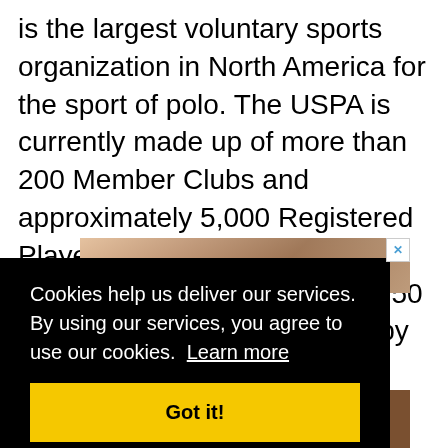is the largest voluntary sports organization in North America for the sport of polo. The USPA is currently made up of more than 200 Member Clubs and approximately 5,000 Registered Player Members. It annually awards and oversees roughly 50 national tournaments hosted by its Member Clubs. For more information, please visit uspolo.org.
[Figure (photo): Partial photo strip showing outdoor/nature scene at top, and a brown decorative strip at the bottom with stylized text partially visible]
Cookies help us deliver our services. By using our services, you agree to use our cookies. Learn more
Got it!